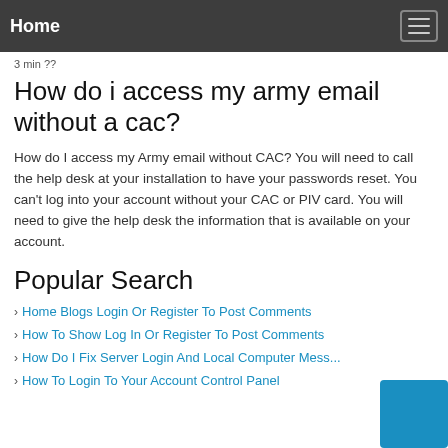Home
3 min ??
How do i access my army email without a cac?
How do I access my Army email without CAC? You will need to call the help desk at your installation to have your passwords reset. You can't log into your account without your CAC or PIV card. You will need to give the help desk the information that is available on your account.
Popular Search
Home Blogs Login Or Register To Post Comments
How To Show Log In Or Register To Post Comments
How Do I Fix Server Login And Local Computer Mess...
How To Login To Your Account Control Panel